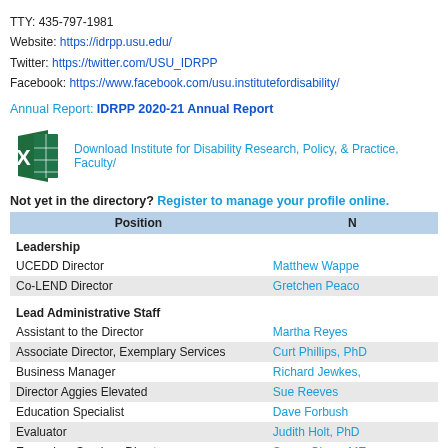TTY:  435-797-1981
Website:  https://idrpp.usu.edu/
Twitter:  https://twitter.com/USU_IDRPP
Facebook:  https://www.facebook.com/usu.institutefordisability/
Annual Report: IDRPP 2020-21 Annual Report
[Figure (logo): Microsoft Excel green icon with X and grid symbol]
Download Institute for Disability Research, Policy, & Practice, Faculty/
Not yet in the directory? Register to manage your profile online.
| Position | N |
| --- | --- |
| Leadership |  |
| UCEDD Director | Matthew Wappe |
| Co-LEND Director | Gretchen Peaco |
| Lead Administrative Staff |  |
| Assistant to the Director | Martha Reyes |
| Associate Director, Exemplary Services | Curt Phillips, PhD |
| Business Manager | Richard Jewkes, |
| Director Aggies Elevated | Sue Reeves |
| Education Specialist | Dave Forbush |
| Evaluator | Judith Holt, PhD |
| Exemplary Services Director | Susan Olsen, ME |